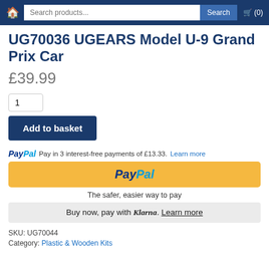Search products... Search (0)
UG70036 UGEARS Model U-9 Grand Prix Car
£39.99
Add to basket
PayPal Pay in 3 interest-free payments of £13.33. Learn more
[Figure (logo): PayPal payment button with yellow background and PayPal logo in blue italic text]
The safer, easier way to pay
Buy now, pay with Klarna. Learn more
SKU: UG70044
Category: Plastic & Wooden Kits